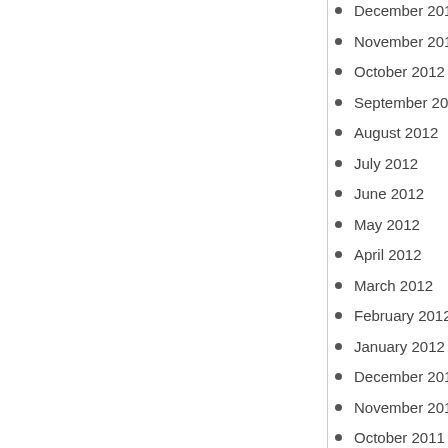December 2012
November 2012
October 2012
September 2012
August 2012
July 2012
June 2012
May 2012
April 2012
March 2012
February 2012
January 2012
December 2011
November 2011
October 2011
September 2011